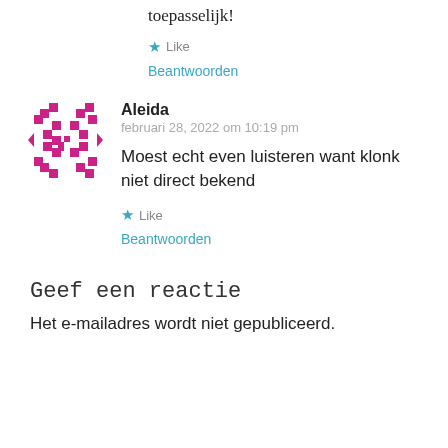toepasselijk!
★ Like
Beantwoorden
[Figure (illustration): Pixelated magenta avatar icon for user Aleida]
Aleida
februari 28, 2022 om 10:19 pm
Moest echt even luisteren want klonk niet direct bekend
★ Like
Beantwoorden
Geef een reactie
Het e-mailadres wordt niet gepubliceerd.